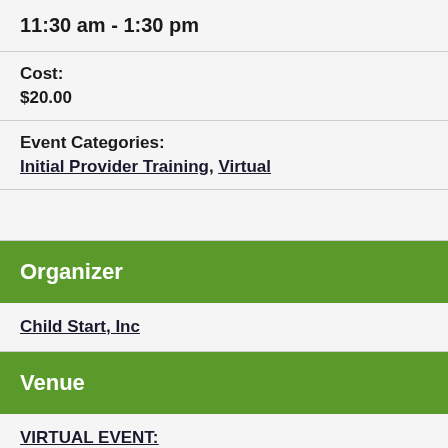11:30 am - 1:30 pm
Cost:
$20.00
Event Categories:
Initial Provider Training, Virtual
Organizer
Child Start, Inc
Venue
VIRTUAL EVENT: